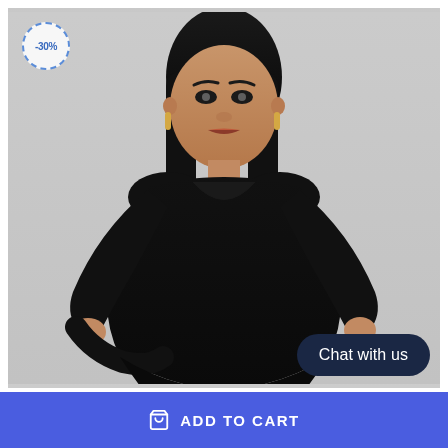[Figure (photo): A plus-size woman wearing a black long-sleeve ribbed bodycon dress, posed against a light gray background. A dashed-circle discount badge showing -30% appears in the upper left corner of the image.]
Chat with us
ADD TO CART